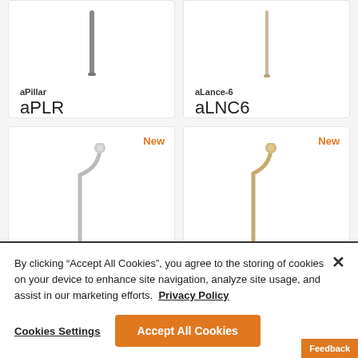[Figure (photo): Product card: aPillar / aPLR pendant light, dark gray cylindrical form, 506lm 12.2W]
[Figure (photo): Product card: aLance-6 / aLNC6 pendant light, light beige slender form, 95lm 2.2W]
[Figure (photo): Product card: New item, curved arm pendant light, silver/chrome finish]
[Figure (photo): Product card: New item, curved arm pendant light, gold/beige finish]
By clicking “Accept All Cookies”, you agree to the storing of cookies on your device to enhance site navigation, analyze site usage, and assist in our marketing efforts. Privacy Policy
Cookies Settings
Accept All Cookies